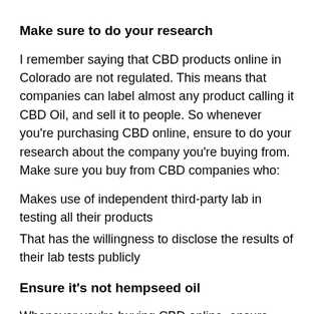Make sure to do your research
I remember saying that CBD products online in Colorado are not regulated. This means that companies can label almost any product calling it CBD Oil, and sell it to people. So whenever you're purchasing CBD online, ensure to do your research about the company you're buying from. Make sure you buy from CBD companies who:
Makes use of independent third-party lab in testing all their products
That has the willingness to disclose the results of their lab tests publicly
Ensure it's not hempseed oil
Whenever you're buying CBD online, ensure you're buying